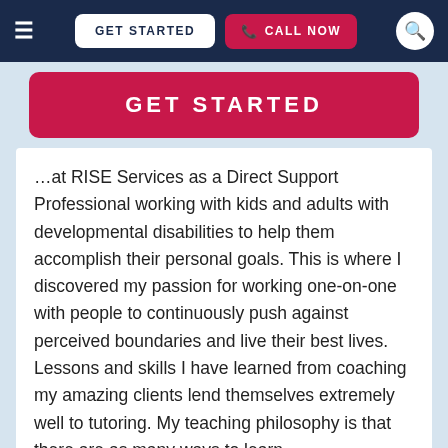≡  GET STARTED  📞 CALL NOW  🔍
[Figure (screenshot): GET STARTED button in pink/crimson with white uppercase text]
…at RISE Services as a Direct Support Professional working with kids and adults with developmental disabilities to help them accomplish their personal goals. This is where I discovered my passion for working one-on-one with people to continuously push against perceived boundaries and live their best lives. Lessons and skills I have learned from coaching my amazing clients lend themselves extremely well to tutoring. My teaching philosophy is that there are as many ways to learn…